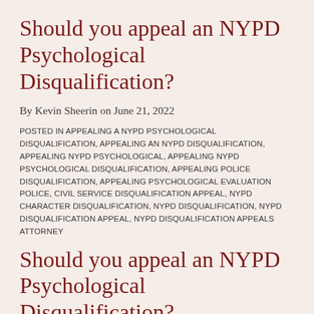Should you appeal an NYPD Psychological Disqualification?
By Kevin Sheerin on June 21, 2022
POSTED IN APPEALING A NYPD PSYCHOLOGICAL DISQUALIFICATION, APPEALING AN NYPD DISQUALIFICATION, APPEALING NYPD PSYCHOLOGICAL, APPEALING NYPD PSYCHOLOGICAL DISQUALIFICATION, APPEALING POLICE DISQUALIFICATION, APPEALING PSYCHOLOGICAL EVALUATION POLICE, CIVIL SERVICE DISQUALIFICATION APPEAL, NYPD CHARACTER DISQUALIFICATION, NYPD DISQUALIFICATION, NYPD DISQUALIFICATION APPEAL, NYPD DISQUALIFICATION APPEALS ATTORNEY
Should you appeal an NYPD Psychological Disqualification?
By
Admin14
June 21, 2022